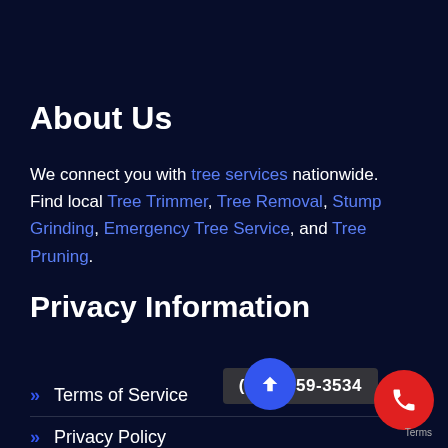About Us
We connect you with tree services nationwide.  Find local Tree Trimmer, Tree Removal, Stump Grinding, Emergency Tree Service, and Tree Pruning.
Privacy Information
Terms of Service
Privacy Policy